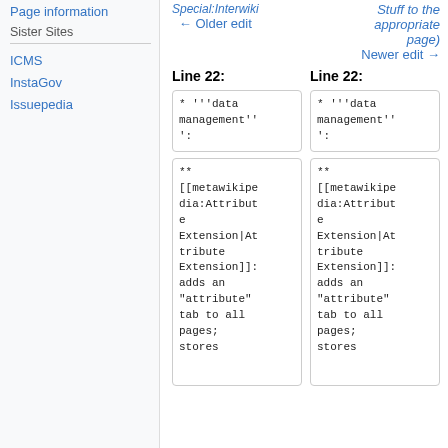Page information
Sister Sites
ICMS
InstaGov
Issuepedia
Special:Interwiki
← Older edit
Stuff to the appropriate page)
Newer edit →
Line 22:
Line 22:
* '''data management'''':
* '''data management'''':
**
[[metawikipedia:Attribute Extension|Attribute Extension]]: adds an "attribute" tab to all pages; stores
**
[[metawikipedia:Attribute Extension|Attribute Extension]]: adds an "attribute" tab to all pages; stores